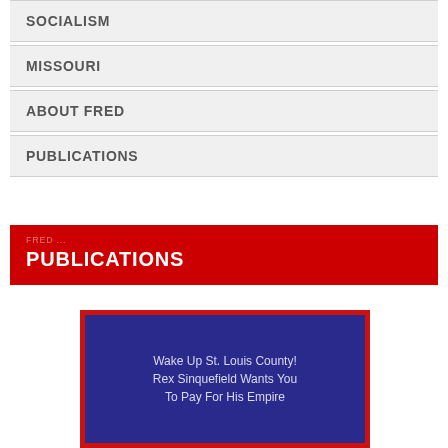SOCIALISM
MISSOURI
ABOUT FRED
PUBLICATIONS
PUBLICATIONS
[Figure (photo): Book cover with dark blue background and red border reading 'Wake Up St. Louis County! Rex Sinquefield Wants You To Pay For His Empire']